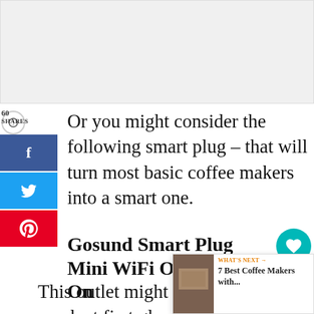[Figure (photo): Placeholder/blank image area at top of page]
Or you might consider the following smart plug – that will turn most basic coffee makers into a smart one.
Gosund Smart Plug Mini WiFi Outlet Add On
This outlet might not look like much at first glance, but don't let its sma... you. The Gosund Smart Plug Mini WiFi